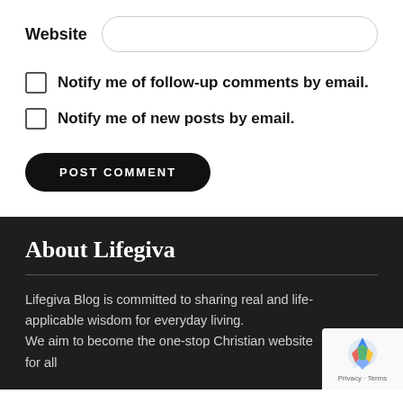Website
Notify me of follow-up comments by email.
Notify me of new posts by email.
POST COMMENT
About Lifegiva
Lifegiva Blog is committed to sharing real and life-applicable wisdom for everyday living. We aim to become the one-stop Christian website for all